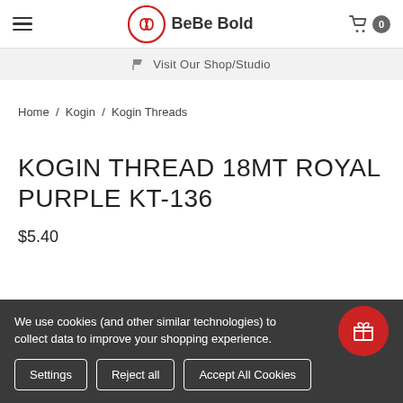BeBe Bold — Navigation header with hamburger menu and cart (0 items)
Visit Our Shop/Studio
Home / Kogin / Kogin Threads
KOGIN THREAD 18MT ROYAL PURPLE KT-136
$5.40
We use cookies (and other similar technologies) to collect data to improve your shopping experience.
Settings | Reject all | Accept All Cookies